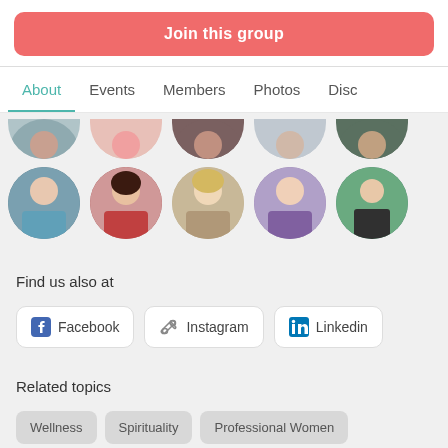Join this group
About  Events  Members  Photos  Disc
[Figure (photo): Two rows of circular profile photo avatars of group members. Top row shows 5 partially cropped avatars. Bottom row shows 5 full circular avatars of women.]
Find us also at
Facebook
Instagram
Linkedin
Related topics
Wellness
Spirituality
Professional Women